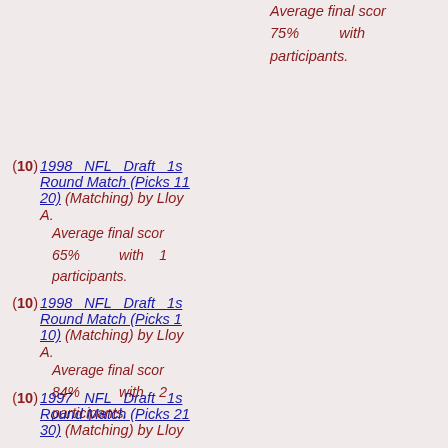Average final score 75% with participants.
(10) 1998 NFL Draft 1st Round Match (Picks 11-20) (Matching) by Lloyd A. Average final score 65% with 1 participants.
(10) 1998 NFL Draft 1st Round Match (Picks 1-10) (Matching) by Lloyd A. Average final score 84% with 2 participants.
(10) 1997 NFL Draft 1st Round Match (Picks 21-30) (Matching) by Lloyd